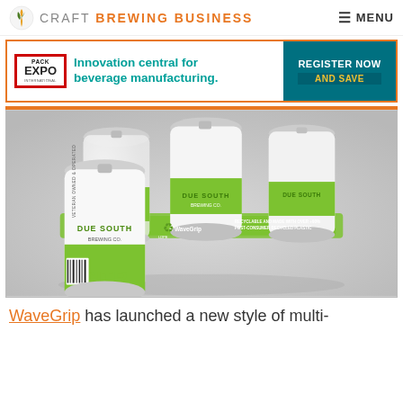CRAFT BREWING BUSINESS   MENU
[Figure (infographic): Pack Expo International advertisement banner: Innovation central for beverage manufacturing. Register Now and Save.]
[Figure (photo): Six-pack of Due South Brewing Co. Citra Session IPA cans held together with WaveGrip recyclable multi-pack ring carrier made with over 90% post-consumer recycled plastic.]
WaveGrip has launched a new style of multi-